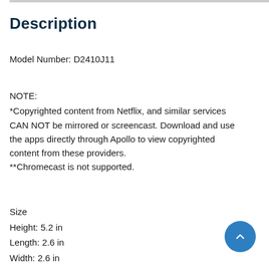Description
Model Number: D2410J11
NOTE:
*Copyrighted content from Netflix, and similar services CAN NOT be mirrored or screencast. Download and use the apps directly through Apollo to view copyrighted content from these providers.
**Chromecast is not supported.
Size
Height: 5.2 in
Length: 2.6 in
Width: 2.6 in